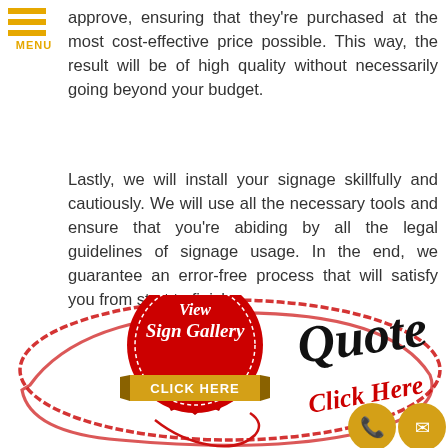[Figure (logo): Menu icon: three horizontal gold/yellow lines with 'MENU' text below]
approve, ensuring that they're purchased at the most cost-effective price possible. This way, the result will be of high quality without necessarily going beyond your budget.
Lastly, we will install your signage skillfully and cautiously. We will use all the necessary tools and ensure that you're abiding by all the legal guidelines of signage usage. In the end, we guarantee an error-free process that will satisfy you from start to finish.
[Figure (infographic): Red wax seal badge with 'View Sign Gallery CLICK HERE' text on a gold ribbon banner, overlapping a hand-drawn red oval circle. Cursive black text 'Quote' and red cursive 'Click Here' text. Two gold circular icons: phone and envelope.]